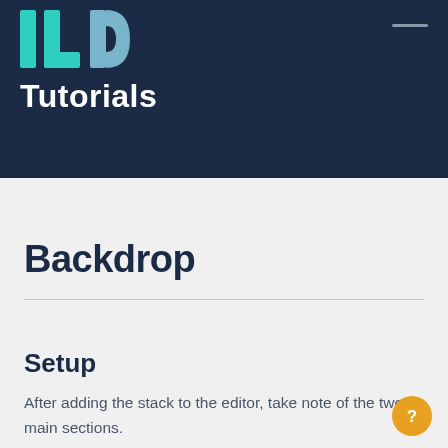ILD Tutorials
Backdrop
Setup
After adding the stack to the editor, take note of the two main sections.